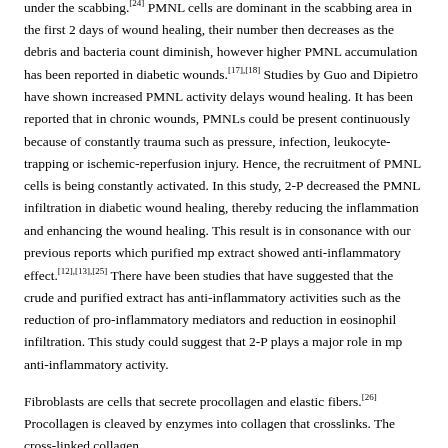under the scabbing.[24] PMNL cells are dominant in the scabbing area in the first 2 days of wound healing, their number then decreases as the debris and bacteria count diminish, however higher PMNL accumulation has been reported in diabetic wounds.[17],[18] Studies by Guo and Dipietro have shown increased PMNL activity delays wound healing. It has been reported that in chronic wounds, PMNLs could be present continuously because of constantly trauma such as pressure, infection, leukocyte-trapping or ischemic-reperfusion injury. Hence, the recruitment of PMNL cells is being constantly activated. In this study, 2-P decreased the PMNL infiltration in diabetic wound healing, thereby reducing the inflammation and enhancing the wound healing. This result is in consonance with our previous reports which purified mp extract showed anti-inflammatory effect.[12],[13],[25] There have been studies that have suggested that the crude and purified extract has anti-inflammatory activities such as the reduction of pro-inflammatory mediators and reduction in eosinophil infiltration. This study could suggest that 2-P plays a major role in mp anti-inflammatory activity.
Fibroblasts are cells that secrete procollagen and elastic fibers.[26] Procollagen is cleaved by enzymes into collagen that crosslinks. The cross-linked collagen